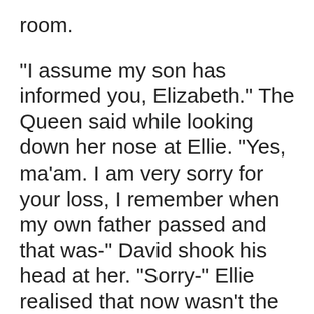room.
"I assume my son has informed you, Elizabeth." The Queen said while looking down her nose at Ellie. "Yes, ma'am. I am very sorry for your loss, I remember when my own father passed and that was-" David shook his head at her. "Sorry-" Ellie realised that now wasn't the time to get emotional.